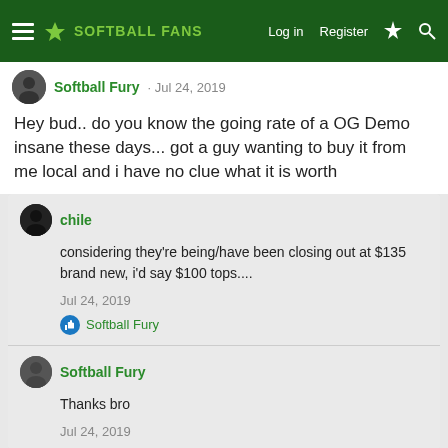SOFTBALL FANS — Log in  Register
Softball Fury · Jul 24, 2019
Hey bud.. do you know the going rate of a OG Demo insane these days... got a guy wanting to buy it from me local and i have no clue what it is worth
chile
considering they're being/have been closing out at $135 brand new, i'd say $100 tops....
Jul 24, 2019
Softball Fury
Softball Fury
Thanks bro
Jul 24, 2019
Bigolred · Apr 20, 2019
How do i post pics can't get it to work
chile